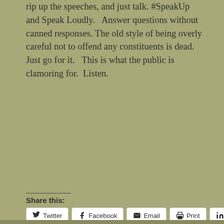rip up the speeches, and just talk. #SpeakUp and Speak Loudly. Answer questions without canned responses. The old style of being overly careful not to offend any constituents is dead. Just go for it. This is what the public is clamoring for. Listen.
Share this:
Twitter Facebook Email Print LinkedIn
Loading...